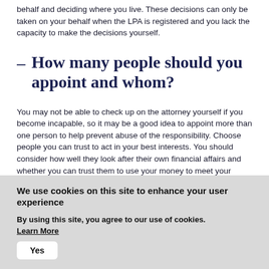behalf and deciding where you live. These decisions can only be taken on your behalf when the LPA is registered and you lack the capacity to make the decisions yourself.
How many people should you appoint and whom?
You may not be able to check up on the attorney yourself if you become incapable, so it may be a good idea to appoint more than one person to help prevent abuse of the responsibility. Choose people you can trust to act in your best interests. You should consider how well they look after their own financial affairs and whether you can trust them to use your money to meet your needs.
We use cookies on this site to enhance your user experience
By using this site, you agree to our use of cookies.
Learn More
Yes